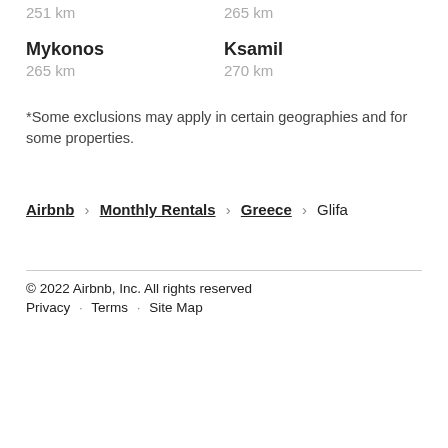251 km
265 km
Mykonos
265 km
Ksamil
270 km
*Some exclusions may apply in certain geographies and for some properties.
Airbnb › Monthly Rentals › Greece › Glifa
© 2022 Airbnb, Inc. All rights reserved
Privacy · Terms · Site Map